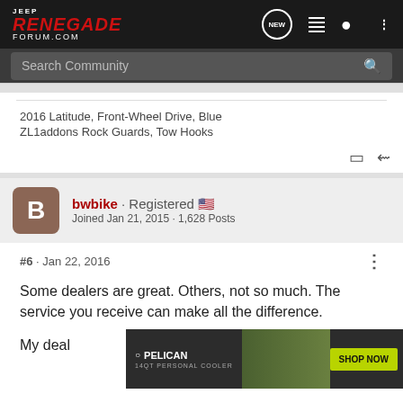Jeep Renegade Forum.com - Search Community
2016 Latitude, Front-Wheel Drive, Blue
ZL1addons Rock Guards, Tow Hooks
bwbike · Registered
Joined Jan 21, 2015 · 1,628 Posts
#6 · Jan 22, 2016
Some dealers are great. Others, not so much. The service you receive can make all the difference.
My deal... em a couple t... ff...